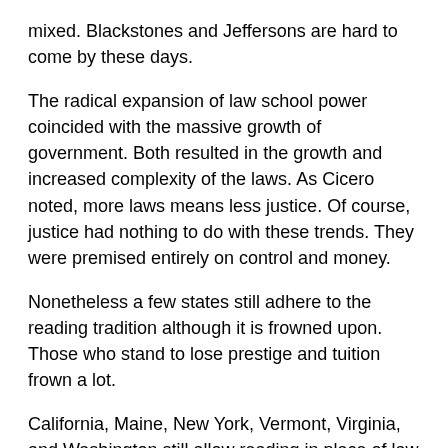mixed. Blackstones and Jeffersons are hard to come by these days.
The radical expansion of law school power coincided with the massive growth of government. Both resulted in the growth and increased complexity of the laws. As Cicero noted, more laws means less justice. Of course, justice had nothing to do with these trends. They were premised entirely on control and money.
Nonetheless a few states still adhere to the reading tradition although it is frowned upon. Those who stand to lose prestige and tuition frown a lot.
California, Maine, New York, Vermont, Virginia, and Washington still allow reading in place of law schooling. Each has its own standards and in some a period of law